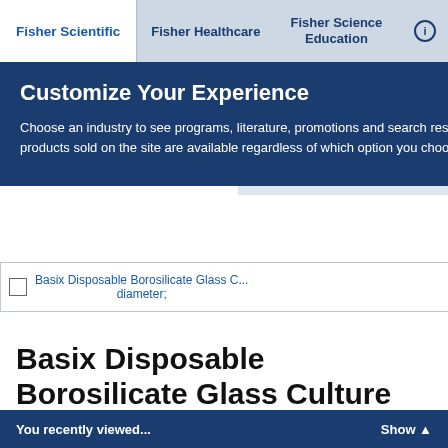Fisher Scientific | Fisher Healthcare | Fisher Science Education
Customize Your Experience
Choose an industry to see programs, literature, promotions and search results relevant to you. All products sold on the site are available regardless of which option you choose.
and product availability
Sign In
Don't have a profile? Regis...
Basix Disposable Borosilicate Glass C... diameter;
Basix Disposable Borosilicate Glass Culture Tubes
Disposable glass culture tubes for a variety of tissue culture, cell washing, and clinical chemistry applications.
You recently viewed... Show ▲